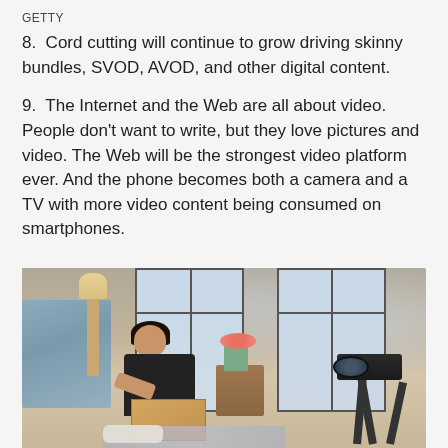GETTY
8.  Cord cutting will continue to grow driving skinny bundles, SVOD, AVOD, and other digital content.
9.  The Internet and the Web are all about video. People don't want to write, but they love pictures and video. The Web will be the strongest video platform ever. And the phone becomes both a camera and a TV with more video content being consumed on smartphones.
[Figure (photo): A woman in a black top unpacking a cardboard box on the floor of a room, with a camera on a tripod facing her, large windows in the background, and a blue sofa on the left.]